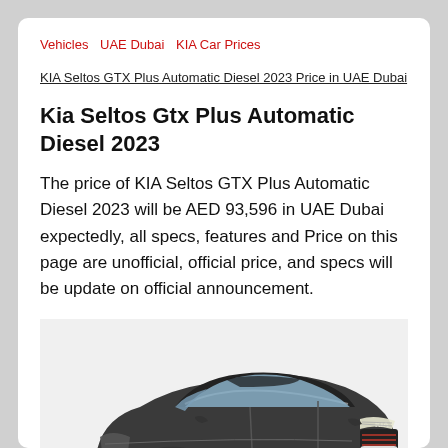Vehicles   UAE Dubai   KIA Car Prices
KIA Seltos GTX Plus Automatic Diesel 2023 Price in UAE Dubai
Kia Seltos Gtx Plus Automatic Diesel 2023
The price of KIA Seltos GTX Plus Automatic Diesel 2023 will be AED 93,596 in UAE Dubai expectedly, all specs, features and Price on this page are unofficial, official price, and specs will be update on official announcement.
[Figure (photo): Front three-quarter view of a dark grey KIA Seltos SUV]